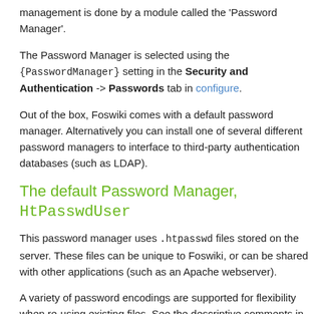management is done by a module called the 'Password Manager'.
The Password Manager is selected using the {PasswordManager} setting in the Security and Authentication -> Passwords tab in configure.
Out of the box, Foswiki comes with a default password manager. Alternatively you can install one of several different password managers to interface to third-party authentication databases (such as LDAP).
The default Password Manager, HtPasswdUser
This password manager uses .htpasswd files stored on the server. These files can be unique to Foswiki, or can be shared with other applications (such as an Apache webserver).
A variety of password encodings are supported for flexibility when re-using existing files. See the descriptive comments in configure for more details.